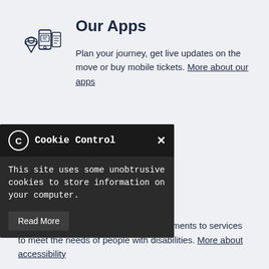[Figure (illustration): Icon showing a phone/app interface with location pin and ticket elements, dark navy outline style]
Our Apps
Plan your journey, get live updates on the move or buy mobile tickets. More about our apps
[Figure (illustration): Accessibility icon showing a person with arms raised]
Accessibility
...committed to making continual improvements to services to meet the needs of people with disabilities. More about accessibility
Cookie Control — This site uses some unobtrusive cookies to store information on your computer. Read More